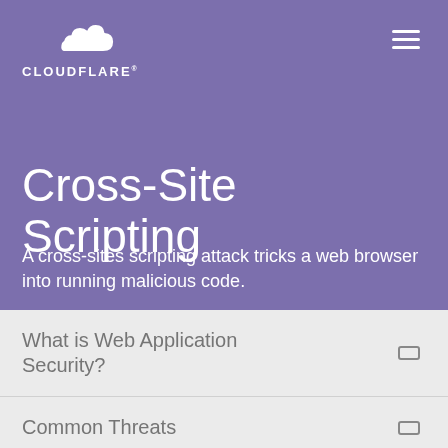[Figure (logo): Cloudflare logo: white cloud icon above text CLOUDFLARE in white on purple background]
Cross-Site Scripting
A cross-sites scripting attack tricks a web browser into running malicious code.
What is Web Application Security?
Common Threats